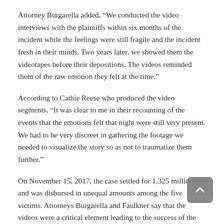Attorney Burgarella added, “We conducted the video interviews with the plaintiffs within six months of the incident while the feelings were still fragile and the incident fresh in their minds. Two years later, we showed them the videotapes before their depositions. The videos reminded them of the raw emotion they felt at the time.”
According to Cathie Reese who produced the video segments, “It was clear to me in their recounting of the events that the emotions felt that night were still very present. We had to be very discreet in gathering the footage we needed to visualize the story so as not to traumatize them further.”
On November 15, 2017, the case settled for 1.325 million, and was disbursed in unequal amounts among the five victims. Attorneys Burgarella and Faulkner say that the videos were a critical element leading to the success of the settlement.
The mediator, retired judge Michael Riley of Pullman & Comley LLC agreed that the videos were very powerful.